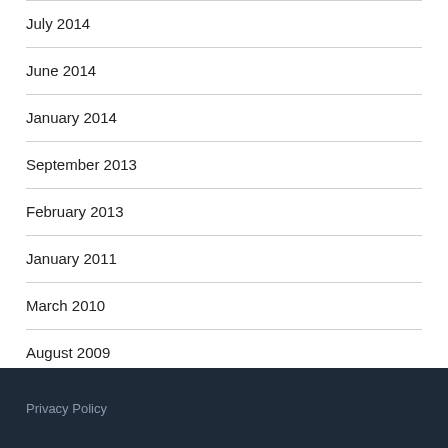July 2014
June 2014
January 2014
September 2013
February 2013
January 2011
March 2010
August 2009
Privacy Policy